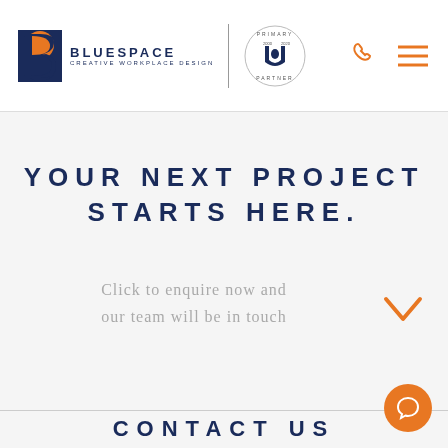[Figure (logo): Bluespace Creative Workplace Design logo with stylized B in blue and orange, plus Primary Partner badge with shield crest]
YOUR NEXT PROJECT STARTS HERE.
Click to enquire now and our team will be in touch
CONTACT US